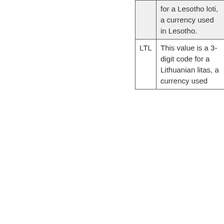| Code | Description |
| --- | --- |
| LSL | for a Lesotho loti, a currency used in Lesotho. |
| LTL | This value is a 3-digit code for a Lithuanian litas, a currency used |